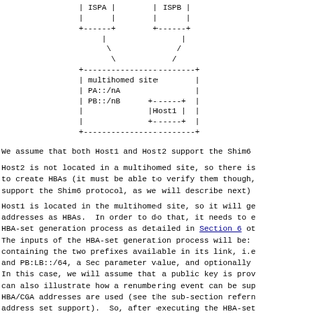[Figure (schematic): ASCII network diagram showing ISPA and ISPB connected to a multihomed site containing PA::/nA, PB::/nB, and Host1]
We assume that both Host1 and Host2 support the Shim6
Host2 is not located in a multihomed site, so there is to create HBAs (it must be able to verify them though, support the Shim6 protocol, as we will describe next)
Host1 is located in the multihomed site, so it will ge addresses as HBAs.  In order to do that, it needs to e HBA-set generation process as detailed in Section 6 ot The inputs of the HBA-set generation process will be: containing the two prefixes available in its link, i.e and PB:LB::/64, a Sec parameter value, and optionally In this case, we will assume that a public key is prov can also illustrate how a renumbering event can be sup HBA/CGA addresses are used (see the sub-section refern address set support).  So, after executing the HBA-set